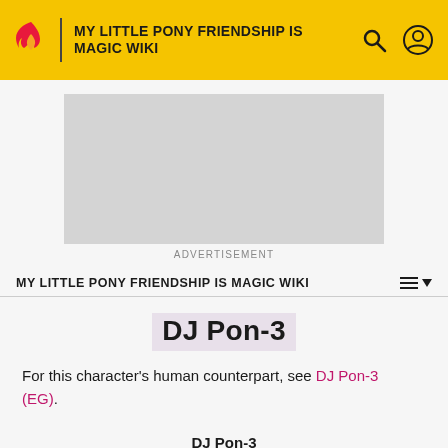MY LITTLE PONY FRIENDSHIP IS MAGIC WIKI
[Figure (other): Gray advertisement placeholder box with ADVERTISEMENT label below]
MY LITTLE PONY FRIENDSHIP IS MAGIC WIKI
DJ Pon-3
For this character's human counterpart, see DJ Pon-3 (EG).
DJ Pon-3